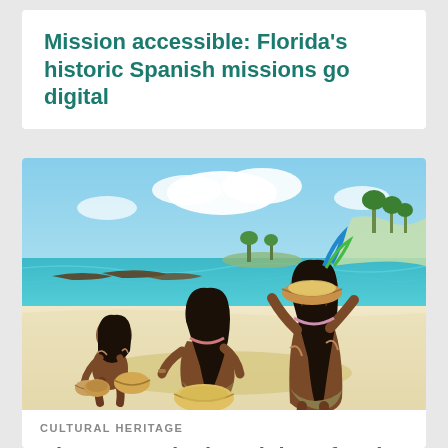Mission accessible: Florida's historic Spanish missions go digital
[Figure (illustration): Illustration of indigenous people on a beach preparing food in bowls. Three figures with dark hair and body paint are working with ceramic vessels. In the background are canoes, a sandy beach, turquoise water, palm trees on an island, and blue sky with clouds.]
CULTURAL HERITAGE
Clear as mud: The origins of early pottery in the lowest latitudes